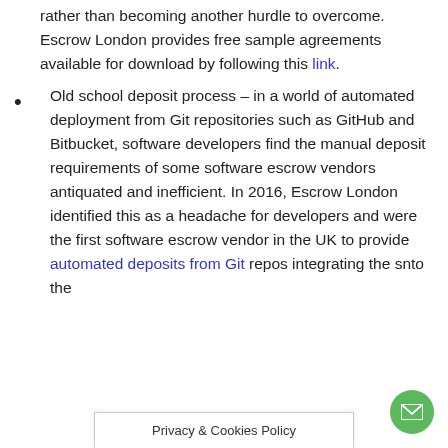rather than becoming another hurdle to overcome. Escrow London provides free sample agreements available for download by following this link.
Old school deposit process – in a world of automated deployment from Git repositories such as GitHub and Bitbucket, software developers find the manual deposit requirements of some software escrow vendors antiquated and inefficient. In 2016, Escrow London identified this as a headache for developers and were the first software escrow vendor in the UK to provide automated deposits from Git repos integrating the s…nto the
Privacy & Cookies Policy